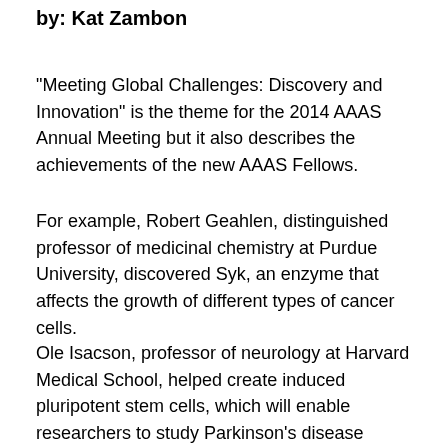by: Kat Zambon
"Meeting Global Challenges: Discovery and Innovation" is the theme for the 2014 AAAS Annual Meeting but it also describes the achievements of the new AAAS Fellows.
For example, Robert Geahlen, distinguished professor of medicinal chemistry at Purdue University, discovered Syk, an enzyme that affects the growth of different types of cancer cells.
Ole Isacson, professor of neurology at Harvard Medical School, helped create induced pluripotent stem cells, which will enable researchers to study Parkinson's disease outside of patients.